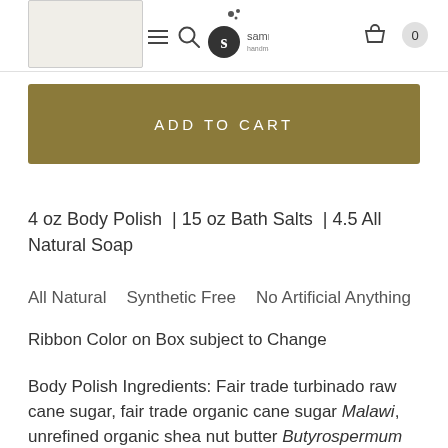sammysoap handmade in st. louis — navigation header with menu, search, logo, cart (0)
ADD TO CART
4 oz Body Polish | 15 oz Bath Salts | 4.5 All Natural Soap
All Natural    Synthetic Free    No Artificial Anything
Ribbon Color on Box subject to Change
Body Polish Ingredients: Fair trade turbinado raw cane sugar, fair trade organic cane sugar Malawi, unrefined organic shea nut butter Butyrospermum